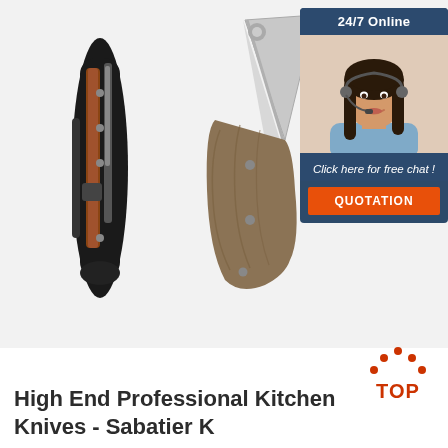[Figure (photo): Two folding knives with wooden handles shown on white/light gray background. Left knife is closed (side view, dark body), center knife is partially open showing blade and wooden handle.]
[Figure (infographic): 24/7 Online chat widget with dark blue background, photo of smiling woman with headset, text 'Click here for free chat!', and orange QUOTATION button.]
[Figure (logo): TOP logo with orange/red dots forming a house/arch shape above the text TOP in orange.]
High End Professional Kitchen Knives - Sabatier K